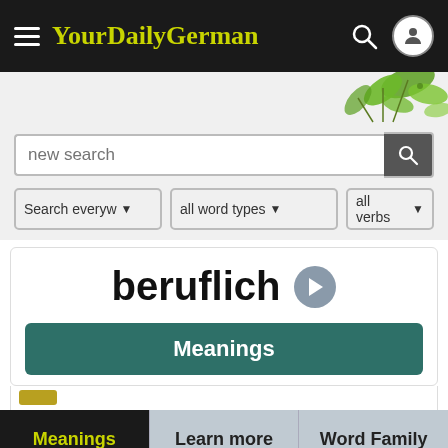YourDailyGerman
[Figure (screenshot): Search bar with placeholder 'new search' and magnifying glass button]
[Figure (screenshot): Three dropdowns: 'Search everyw', 'all word types', 'all verbs']
beruflich
Meanings
Meanings
Learn more
Word Family
Comments
Subscribe for free